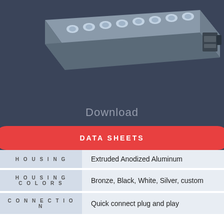[Figure (photo): LED linear bar light fixture in silver/aluminum finish shown in 3D perspective view against dark blue-grey background, with circular lens openings along the top and connector at end.]
Download
DATA SHEETS
| Attribute | Value |
| --- | --- |
| HOUSING | Extruded Anodized Aluminum |
| HOUSING COLORS | Bronze, Black, White, Silver, custom |
| CONNECTION | Quick connect plug and play |